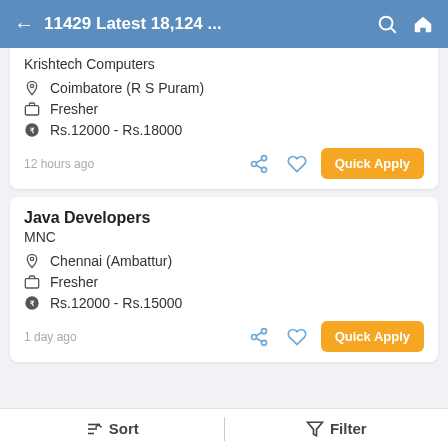11429 Latest 18,124 ...
Krishtech Computers
Coimbatore (R S Puram)
Fresher
Rs.12000 - Rs.18000
12 hours ago
Java Developers
MNC
Chennai (Ambattur)
Fresher
Rs.12000 - Rs.15000
1 day ago
Sort   Filter